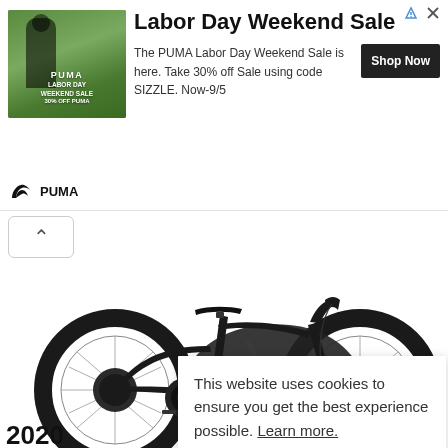[Figure (photo): PUMA Labor Day Weekend Sale advertisement banner with photo of athlete, PUMA branding, sale details, and Shop Now button]
[Figure (photo): Mountain bike (Specialized) photographed on white background, black color, full suspension]
This website uses cookies to ensure you get the best experience possible. Learn more.
GOT IT
2020